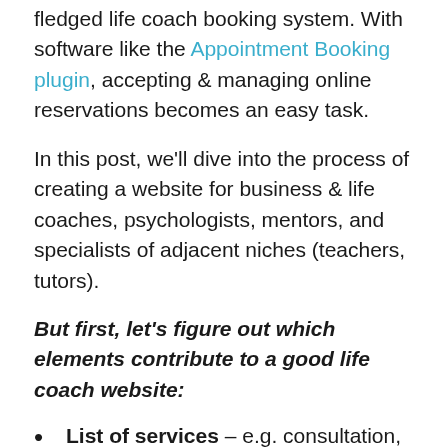fledged life coach booking system. With software like the Appointment Booking plugin, accepting & managing online reservations becomes an easy task.
In this post, we'll dive into the process of creating a website for business & life coaches, psychologists, mentors, and specialists of adjacent niches (teachers, tutors).
But first, let's figure out which elements contribute to a good life coach website:
List of services – e.g. consultation, coaching sessions, mentoring (with description + price);
Life coach booking system for appointments – allows customers to reserve an appointment in a